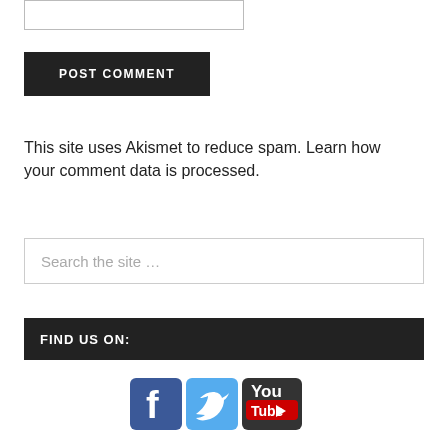[Figure (other): Text input box (comment form field)]
[Figure (other): POST COMMENT button, dark background]
This site uses Akismet to reduce spam. Learn how your comment data is processed.
[Figure (other): Search the site ... input box]
FIND US ON:
[Figure (other): Social media icons: Facebook, Twitter, YouTube]